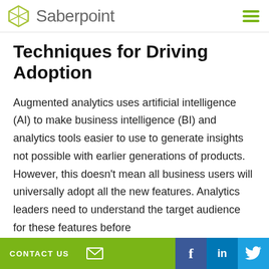Saberpoint
Techniques for Driving Adoption
Augmented analytics uses artificial intelligence (AI) to make business intelligence (BI) and analytics tools easier to use to generate insights not possible with earlier generations of products. However, this doesn’t mean all business users will universally adopt all the new features. Analytics leaders need to understand the target audience for these features before
CONTACT US | [email icon] | f | in | [Twitter icon]